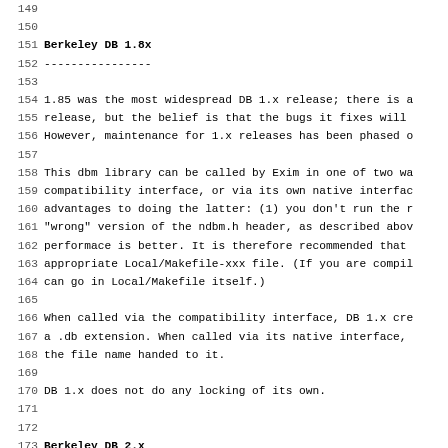149
150
151 Berkeley DB 1.8x
152 ----------------
153
154 1.85 was the most widespread DB 1.x release; there is a
155 release, but the belief is that the bugs it fixes will
156 However, maintenance for 1.x releases has been phased o
157
158 This dbm library can be called by Exim in one of two wa
159 compatibility interface, or via its own native interfac
160 advantages to doing the latter: (1) you don't run the r
161 "wrong" version of the ndbm.h header, as described abov
162 performace is better. It is therefore recommended that
163 appropriate Local/Makefile-xxx file. (If you are compil
164 can go in Local/Makefile itself.)
165
166 When called via the compatibility interface, DB 1.x cre
167 a .db extension. When called via its native interface,
168 the file name handed to it.
169
170 DB 1.x does not do any locking of its own.
171
172
173 Berkeley DB 2.x
174 ---------------
175
176 DB 2.x was released in 1997. It is a major re-implement
177 interface is incompatible with DB 1.x, though a compati
178 introduced in DB 2.1.0, and there is also an ndbm.h com
179
180 Like 1.x, it can be called from Exim via the ndbm compa
181 ...